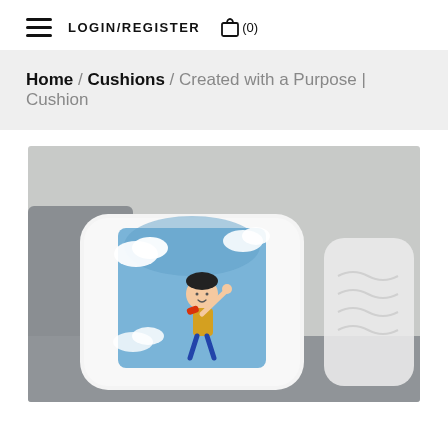LOGIN/REGISTER  (0)
Home / Cushions / Created with a Purpose | Cushion
[Figure (photo): Product photo showing a white cushion with a watercolor illustration of a child superhero flying in the sky with clouds, displayed on a grey sofa alongside other white cushions.]